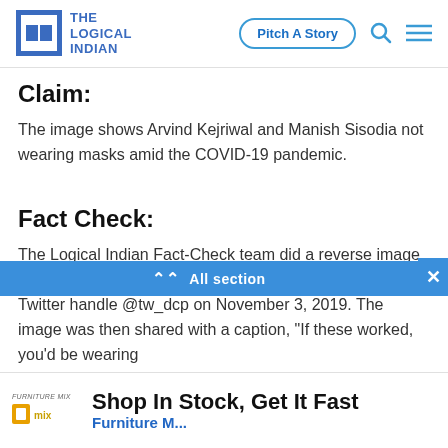THE LOGICAL INDIAN | Pitch A Story
Claim:
The image shows Arvind Kejriwal and Manish Sisodia not wearing masks amid the COVID-19 pandemic.
Fact Check:
The Logical Indian Fact-Check team did a reverse image search and found the same image was tweeted by a Twitter handle @tw_dcp on November 3, 2019. The image was then shared with a caption, "If these worked, you'd be wearing
All section
[Figure (other): Furniture Mix advertisement banner: Shop In Stock, Get It Fast]